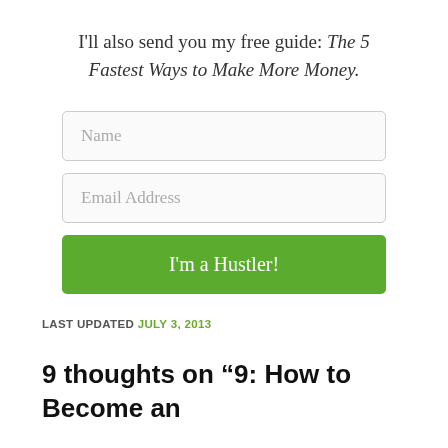I'll also send you my free guide: The 5 Fastest Ways to Make More Money.
[Figure (screenshot): A web form with Name and Email Address input fields and a green 'I'm a Hustler!' submit button]
LAST UPDATED JULY 3, 2013
9 thoughts on “9: How to Become an